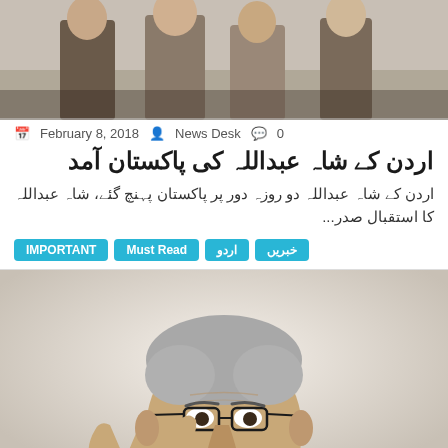[Figure (photo): People walking, group photo from behind, outdoor setting, men in suits]
February 8, 2018  News Desk  0
اردن کے شاہ عبداللہ کی پاکستان آمد
اردن کے شاہ عبداللہ دو روزہ دور پر پاکستان پہنچ گئے، شاہ عبداللہ کا استقبال صدر...
IMPORTANT
Must Read
اردو
خبریں
[Figure (photo): Portrait of an elderly man with gray hair, glasses, wearing a suit, gesturing with his hand]